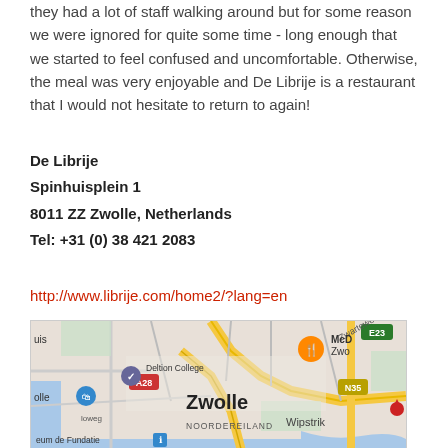they had a lot of staff walking around but for some reason we were ignored for quite some time - long enough that we started to feel confused and uncomfortable. Otherwise, the meal was very enjoyable and De Librije is a restaurant that I would not hesitate to return to again!
De Librije
Spinhuisplein 1
8011 ZZ Zwolle, Netherlands
Tel: +31 (0) 38 421 2083
http://www.librije.com/home2/?lang=en
[Figure (map): Google Maps screenshot showing Zwolle, Netherlands area with Deltion College, Noordereiland, Wipstrik, McDonald's marker, A28 road, N35 road, E23 route, and museum de Fundatie visible.]